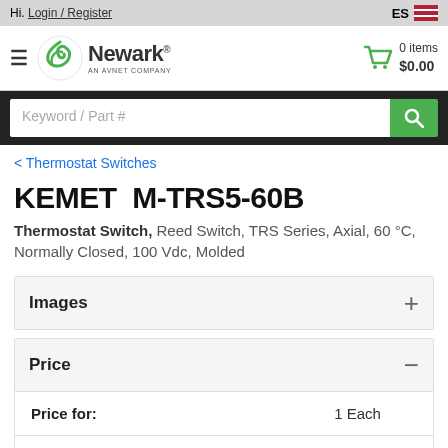Hi. Login / Register | ES
[Figure (logo): Newark - An Avnet Company logo with green swirl graphic]
0 items $0.00
Keyword / Part #
< Thermostat Switches
KEMET  M-TRS5-60B
Thermostat Switch, Reed Switch, TRS Series, Axial, 60 °C, Normally Closed, 100 Vdc, Molded
Images +
Price −
|  |  |
| --- | --- |
| Price for: | 1 Each |
| Minimum order quantity: | 1 |